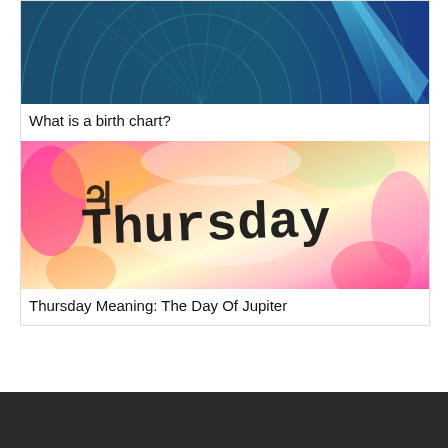[Figure (illustration): Decorative image with dark teal/blue background showing abstract circular sunburst patterns and blue light rays]
What is a birth chart?
[Figure (illustration): Colorful watercolor-style image with pink, orange, yellow, and magenta tones with artistic handwritten text reading 'Thursday' overlaid]
Thursday Meaning: The Day Of Jupiter